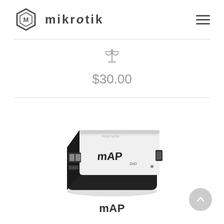[Figure (logo): MikroTik logo with hexagonal box icon and lowercase 'mikrotik' text]
$30.00
[Figure (photo): MikroTik mAP 2nD router device - small black and white network device with two Ethernet ports and USB port]
mAP